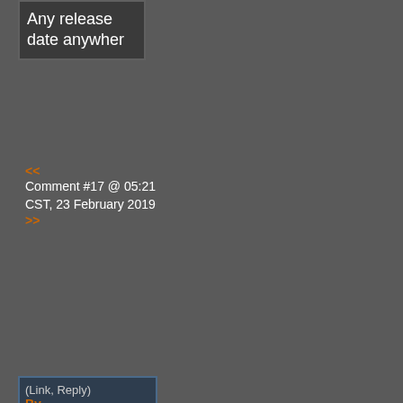Any release date anywhere
<< Comment #17 @ 05:21 CST, 23 February 2019 >>
(Link, Reply)
By kapcа - Reply to #15
Blog states that it's available now, but only preor...